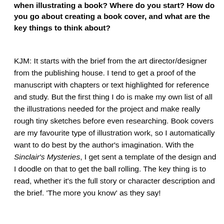when illustrating a book? Where do you start? How do you go about creating a book cover, and what are the key things to think about?
KJM: It starts with the brief from the art director/designer from the publishing house. I tend to get a proof of the manuscript with chapters or text highlighted for reference and study. But the first thing I do is make my own list of all the illustrations needed for the project and make really rough tiny sketches before even researching. Book covers are my favourite type of illustration work, so I automatically want to do best by the author's imagination. With the Sinclair's Mysteries, I get sent a template of the design and I doodle on that to get the ball rolling. The key thing is to read, whether it's the full story or character description and the brief. 'The more you know' as they say!